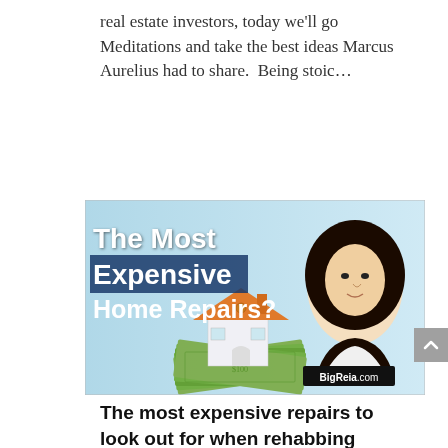real estate investors, today we'll go Meditations and take the best ideas Marcus Aurelius had to share.  Being stoic…
[Figure (illustration): Thumbnail image for a video titled 'The Most Expensive Home Repairs?' showing a white toy house with an orange roof sitting on a pile of dollar bills, with a woman's portrait on the right side and 'BigReia.com' branding in the lower right corner. Background is light blue.]
The most expensive repairs to look out for when rehabbing houses,